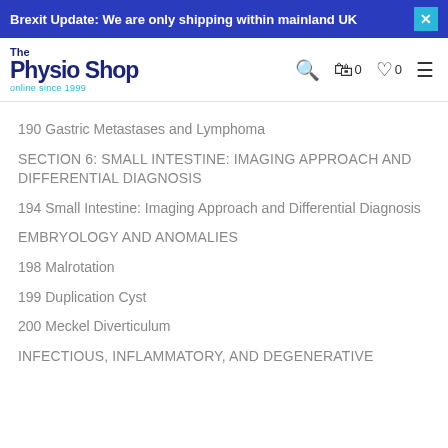Brexit Update: We are only shipping within mainland UK
[Figure (logo): The Physio Shop logo - online since 1999]
190 Gastric Metastases and Lymphoma
SECTION 6: SMALL INTESTINE: IMAGING APPROACH AND DIFFERENTIAL DIAGNOSIS
194 Small Intestine: Imaging Approach and Differential Diagnosis
EMBRYOLOGY AND ANOMALIES
198 Malrotation
199 Duplication Cyst
200 Meckel Diverticulum
INFECTIOUS, INFLAMMATORY, AND DEGENERATIVE